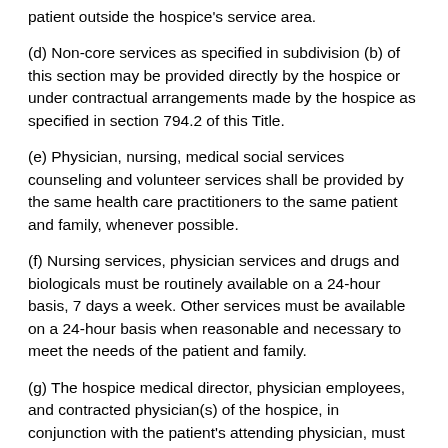patient outside the hospice's service area.
(d) Non-core services as specified in subdivision (b) of this section may be provided directly by the hospice or under contractual arrangements made by the hospice as specified in section 794.2 of this Title.
(e) Physician, nursing, medical social services counseling and volunteer services shall be provided by the same health care practitioners to the same patient and family, whenever possible.
(f) Nursing services, physician services and drugs and biologicals must be routinely available on a 24-hour basis, 7 days a week. Other services must be available on a 24-hour basis when reasonable and necessary to meet the needs of the patient and family.
(g) The hospice medical director, physician employees, and contracted physician(s) of the hospice, in conjunction with the patient's attending physician, must assume responsibility for the palliation and management of the terminal illness and conditions related to the terminal illness. If the attending physician is unavailable, the medical director, contracted physician, and/or hospice physician employee is responsible for meeting the medical